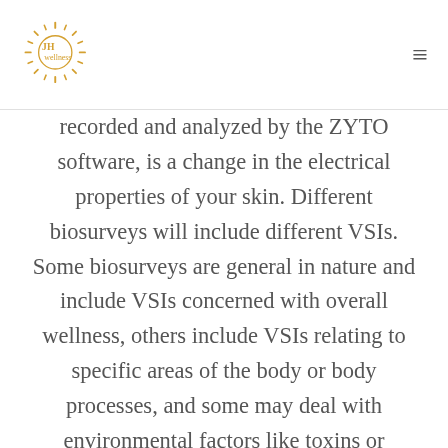JH wellness
recorded and analyzed by the ZYTO software, is a change in the electrical properties of your skin. Different biosurveys will include different VSIs. Some biosurveys are general in nature and include VSIs concerned with overall wellness, others include VSIs relating to specific areas of the body or body processes, and some may deal with environmental factors like toxins or allergens. A biosurvey can be as varied